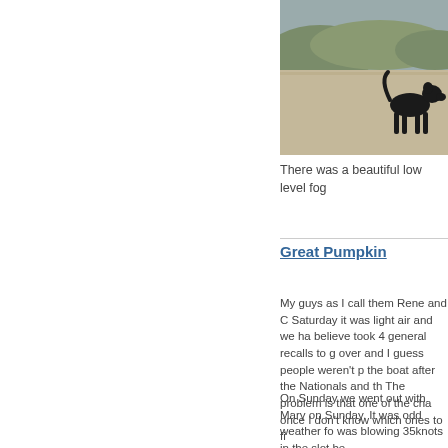[Figure (photo): A black dog standing on a sandy beach with hills/dunes in the background]
There was a beautiful low level fog
Great Pumpkin
My guys as I call them Rene and C Saturday it was light air and we ha believe took 4 general recalls to g over and I guess people weren't p the boat after the Nationals and th The problem is that one of the cha once I don't know which ones to fi
On Sunday we went out with Mary on Sunday. It was odd weather fo was blowing 35knots in the slot be